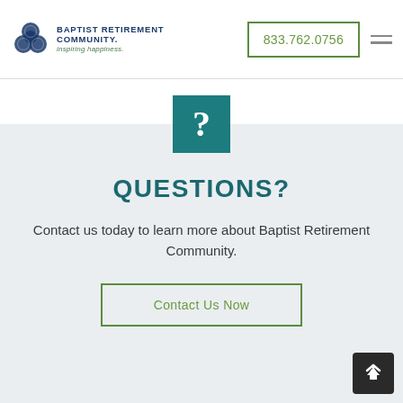Baptist Retirement Community — inspiring happiness — 833.762.0756
[Figure (logo): Baptist Retirement Community logo with teal trefoil/clover icon and blue text reading BAPTIST RETIREMENT COMMUNITY with tagline 'inspiring happiness.']
[Figure (illustration): Teal square icon containing a white question mark]
QUESTIONS?
Contact us today to learn more about Baptist Retirement Community.
Contact Us Now